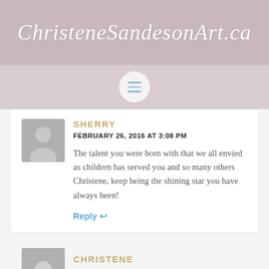ChristeneSandesonArt.ca
[Figure (screenshot): Hamburger menu icon button in a circular grey button on a dusty pink navigation bar]
SHERRY
FEBRUARY 26, 2016 AT 3:08 PM
The talent you were born with that we all envied as children has served you and so many others Christene, keep being the shining star you have always been!
Reply ↩
CHRISTENE